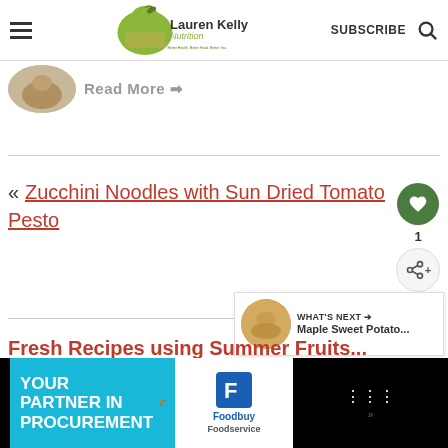Lauren Kelly Nutrition — SUBSCRIBE
Read More →
« Zucchini Noodles with Sun Dried Tomato Pesto
1
[Figure (infographic): WHAT'S NEXT arrow label with thumbnail image and text: Maple Sweet Potato...]
Fresh Recipes using Summer Fruits...
[Figure (infographic): Advertisement banner: YOUR PARTNER IN PROCUREMENT with Foodbuy Foodservice logo]